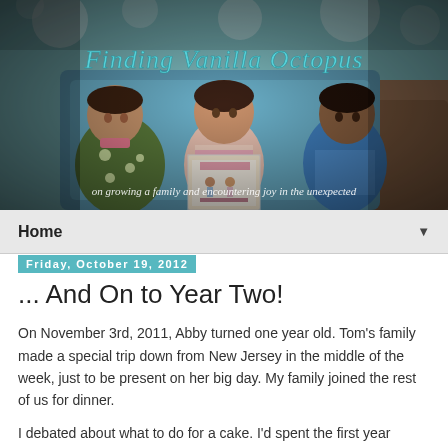[Figure (photo): Blog header photo showing three young children sitting together reading a book, with the blog title 'Finding Vanilla Octopus' in teal cursive text and subtitle 'on growing a family and encountering joy in the unexpected' overlaid on the image]
Home ▼
Friday, October 19, 2012
... And On to Year Two!
On November 3rd, 2011, Abby turned one year old. Tom's family made a special trip down from New Jersey in the middle of the week, just to be present on her big day. My family joined the rest of us for dinner.
I debated about what to do for a cake. I'd spent the first year